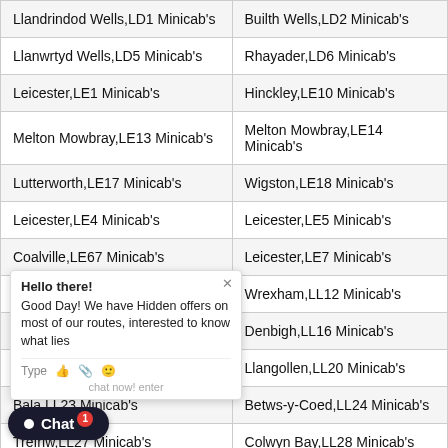| Llandrindod Wells,LD1 Minicab's | Builth Wells,LD2 Minicab's |
| Llanwrtyd Wells,LD5 Minicab's | Rhayader,LD6 Minicab's |
| Leicester,LE1 Minicab's | Hinckley,LE10 Minicab's |
| Melton Mowbray,LE13 Minicab's | Melton Mowbray,LE14 Minicab's |
| Lutterworth,LE17 Minicab's | Wigston,LE18 Minicab's |
| Leicester,LE4 Minicab's | Leicester,LE5 Minicab's |
| Coalville,LE67 Minicab's | Leicester,LE7 Minicab's |
| Wrexham,LL11 Minicab's | Wrexham,LL12 Minicab's |
| Ruthin,LL15 Minicab's | Denbigh,LL16 Minicab's |
| Prestatyn,LL19 Minicab's | Llangollen,LL20 Minicab's |
| Bala,LL23 Minicab's | Betws-y-Coed,LL24 Minicab's |
| Trefriw,LL27 Minicab's | Colwyn Bay,LL28 Minicab's |
| Conwy,LL31 Minicab's | Conwy,LL32 Minicab's |